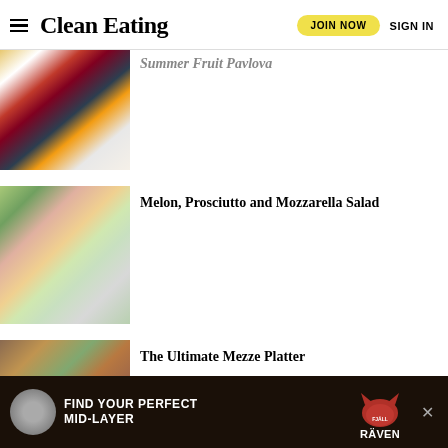Clean Eating | JOIN NOW | SIGN IN
Summer Fruit Pavlova
[Figure (photo): Pavlova topped with summer fruits including berries, figs, and peaches on a golden background]
Melon, Prosciutto and Mozzarella Salad
[Figure (photo): Melon and prosciutto salad with greens on a plate]
The Ultimate Mezze Platter
[Figure (photo): Mezze platter with various dips, vegetables, and charcuterie]
FIND YOUR PERFECT MID-LAYER — Fjäll Räven advertisement